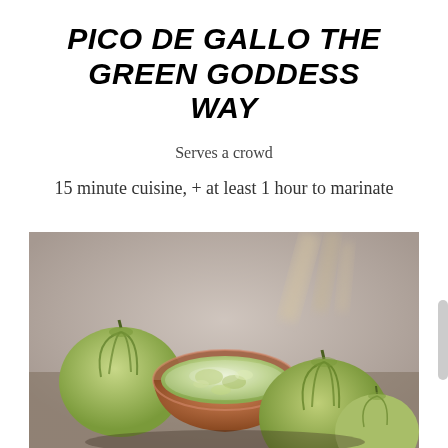PICO DE GALLO THE GREEN GODDESS WAY
Serves a crowd
15 minute cuisine, + at least 1 hour to marinate
[Figure (photo): A clay bowl filled with green tomatillo salsa pico de gallo, surrounded by several fresh tomatillos with their papery husks, on a dark surface with blurred background.]